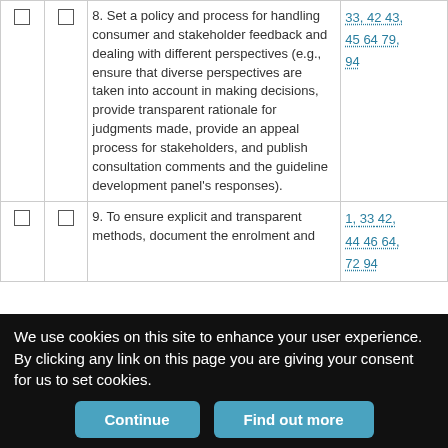|  |  | Item | References |
| --- | --- | --- | --- |
| ☐ | ☐ | 8. Set a policy and process for handling consumer and stakeholder feedback and dealing with different perspectives (e.g., ensure that diverse perspectives are taken into account in making decisions, provide transparent rationale for judgments made, provide an appeal process for stakeholders, and publish consultation comments and the guideline development panel's responses). | 33 42 43 45 64 79 94 |
| ☐ | ☐ | 9. To ensure explicit and transparent methods, document the enrolment and | 1 33 42 44 46 64 72 94 |
We use cookies on this site to enhance your user experience. By clicking any link on this page you are giving your consent for us to set cookies.